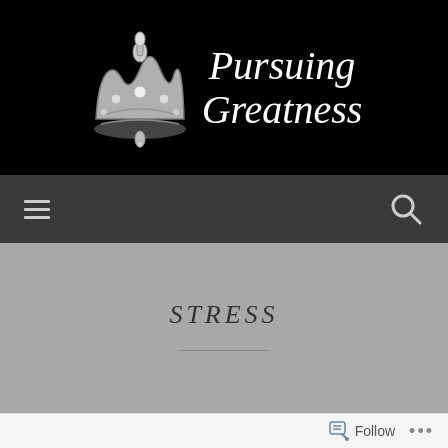Pursuing Greatness
[Figure (logo): Crown/tiara illustration with jewels, beside cursive text 'Pursuing Greatness' on black background]
STRESS
Showers of Stress
Follow ...